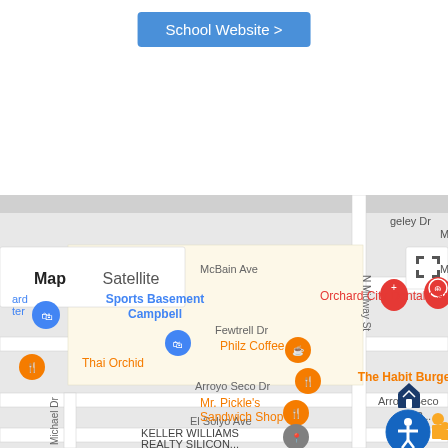School Website >
[Figure (map): Google Maps view showing area around Campbell, CA with markers for Sports Basement Campbell, Orchard City Dental Care, Philz Coffee, Thai Orchid, The Habit Burger Grill, Mr. Pickle's Sandwich Shop, Keller Williams Realty Silicon... Streets visible include McBain Ave, Fewtrell Dr, Arroyo Seco Dr, El Solyo Ave, N Midway St, Michael Dr. Map/Satellite toggle visible in upper left of map.]